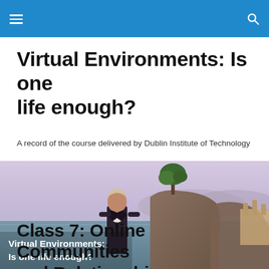Virtual Environments: Is one life enough?
A record of the course delivered by Dublin Institute of Technology
[Figure (photo): Screenshot from a virtual world environment showing an avatar character in a dark jacket standing near a coastal cliff with a tree, ocean water, and distant structures visible. White bold text overlaid reads: 'Virtual Environments: Is one life enough?']
Class 7: Online Communities and Relationships